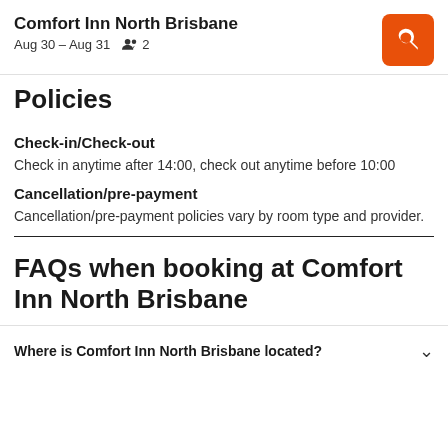Comfort Inn North Brisbane | Aug 30 – Aug 31 | 2
Policies
Check-in/Check-out
Check in anytime after 14:00, check out anytime before 10:00
Cancellation/pre-payment
Cancellation/pre-payment policies vary by room type and provider.
FAQs when booking at Comfort Inn North Brisbane
Where is Comfort Inn North Brisbane located?